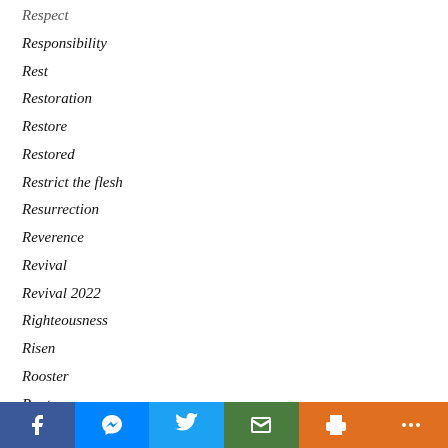Respect
Responsibility
Rest
Restoration
Restore
Restored
Restrict the flesh
Resurrection
Reverence
Revival
Revival 2022
Righteousness
Risen
Rooster
Roots
Rules